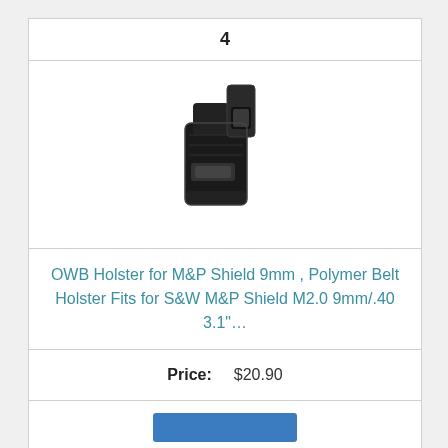4
[Figure (photo): Black polymer OWB pistol holster with belt clip attachment, shown from front angle]
OWB Holster for M&P Shield 9mm , Polymer Belt Holster Fits for S&W M&P Shield M2.0 9mm/.40 3.1"...
Price: $20.90